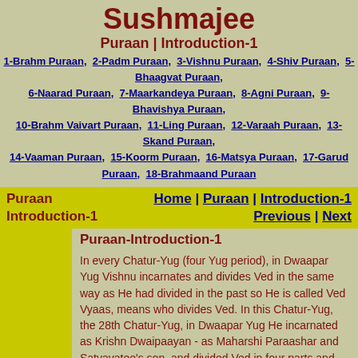Sushmajee
Puraan | Introduction-1
1-Brahm Puraan, 2-Padm Puraan, 3-Vishnu Puraan, 4-Shiv Puraan, 5-Bhaagvat Puraan, 6-Naarad Puraan, 7-Maarkandeya Puraan, 8-Agni Puraan, 9-Bhavishya Puraan, 10-Brahm Vaivart Puraan, 11-Ling Puraan, 12-Varaah Puraan, 13-Skand Puraan, 14-Vaaman Puraan, 15-Koorm Puraan, 16-Matsya Puraan, 17-Garud Puraan, 18-Brahmaand Puraan
Puraan Introduction-1
Home | Puraan | Introduction-1 Previous | Next
Puraan-Introduction-1
In every Chatur-Yug (four Yug period), in Dwaapar Yug Vishnu incarnates and divides Ved in the same way as He had divided in the past so He is called Ved Vyaas, means who divides Ved. In this Chatur-Yug, the 28th Chatur-Yug, in Dwaapar Yug He incarnated as Krishn Dwaipaayan - as Maharshi Paraashar and Satyavatee's son, and divided Ved in four parts and compiled Puraan also. Brahmaand Puraan, 1:4:21 says that the histories and Puraan are the fifth Ved.